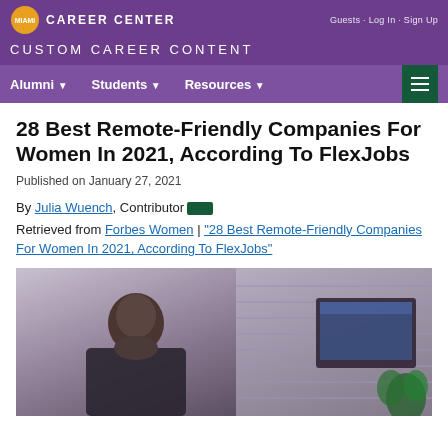MIAMI CAREER CENTER | Guests · Log In · Sign Up
CUSTOM CAREER CONTENT
Alumni | Students | Resources
28 Best Remote-Friendly Companies For Women In 2021, According To FlexJobs
Published on January 27, 2021
By Julia Wuench, Contributor Retrieved from Forbes Women | "28 Best Remote-Friendly Companies For Women In 2021, According To FlexJobs"
[Figure (photo): Woman sitting at a desk working at a computer monitor, looking to the side, with window blinds and a plant in the background.]